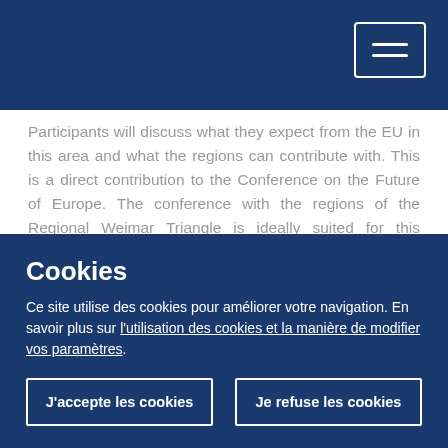[Navigation header with menu button]
Participants will discuss what they expect from the EU in this area and what the regions can contribute with. This is a direct contribution to the Conference on the Future of Europe. The conference with the regions of the Regional Weimar Triangle is ideally suited for this purpose. The Weimar Triangle is Europe under a magnifying glass - different countries with many differences but, especially regionally, with even more similarities.
The exchange should not only bring important ideas and impulses from the regions to Brussels, but also bring the citizens of the region closer together. In this way, the dialogue can provide a strong impetus for the future of the Regional...
Cookies
Ce site utilise des cookies pour améliorer votre navigation. En savoir plus sur l'utilisation des cookies et la manière de modifier vos paramètres.
J'accepte les cookies
Je refuse les cookies